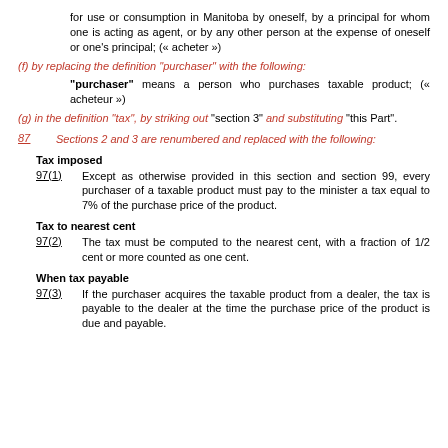for use or consumption in Manitoba by oneself, by a principal for whom one is acting as agent, or by any other person at the expense of oneself or one's principal; (« acheter »)
(f) by replacing the definition "purchaser" with the following:
"purchaser" means a person who purchases taxable product; (« acheteur »)
(g) in the definition "tax", by striking out "section 3" and substituting "this Part".
87   Sections 2 and 3 are renumbered and replaced with the following:
Tax imposed
97(1)   Except as otherwise provided in this section and section 99, every purchaser of a taxable product must pay to the minister a tax equal to 7% of the purchase price of the product.
Tax to nearest cent
97(2)   The tax must be computed to the nearest cent, with a fraction of 1/2 cent or more counted as one cent.
When tax payable
97(3)   If the purchaser acquires the taxable product from a dealer, the tax is payable to the dealer at the time the purchase price of the product is due and payable.